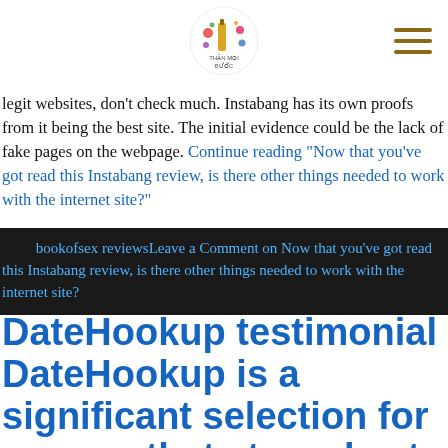[Figure (logo): Website logo with colorful party/drink illustration and text 'THẬN MỌI BƯỚC']
legit websites, don't check much. Instabang has its own proofs from it being the best site. The initial evidence could be the lack of fake pages on the webpage. Continue reading "Now that you've got read this Instabang review, is there other things needed to work with the internet site?"
bookofsex reviewsLeave a Comment on Now that you've got read this Instabang review, is there other things needed to work with the internet site?
DateHookup testimonial DateHookup is a significant selection for anyone that struggles to afford reduced internet site this is…